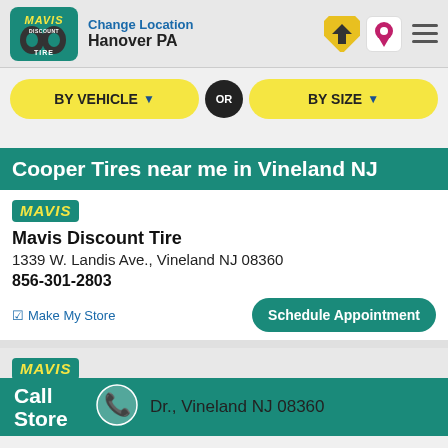Change Location Hanover PA
BY VEHICLE ▼ OR BY SIZE ▼
Cooper Tires near me in Vineland NJ
Mavis Discount Tire
1339 W. Landis Ave., Vineland NJ 08360
856-301-2803
Make My Store / Schedule Appointment
Mavis Discount Tire
Dr., Vineland NJ 08360
Call Store